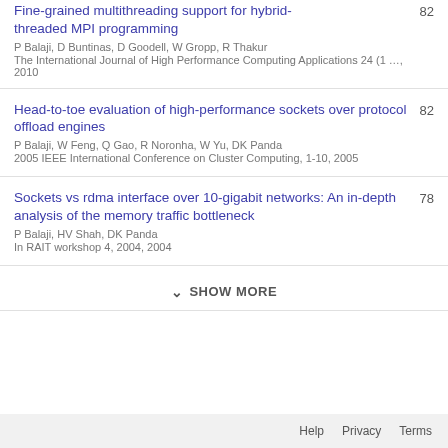Fine-grained multithreading support for hybrid-threaded MPI programming
P Balaji, D Buntinas, D Goodell, W Gropp, R Thakur
The International Journal of High Performance Computing Applications 24 (1 …, 2010
82
Head-to-toe evaluation of high-performance sockets over protocol offload engines
P Balaji, W Feng, Q Gao, R Noronha, W Yu, DK Panda
2005 IEEE International Conference on Cluster Computing, 1-10, 2005
82
Sockets vs rdma interface over 10-gigabit networks: An in-depth analysis of the memory traffic bottleneck
P Balaji, HV Shah, DK Panda
In RAIT workshop 4, 2004, 2004
78
SHOW MORE
Help  Privacy  Terms